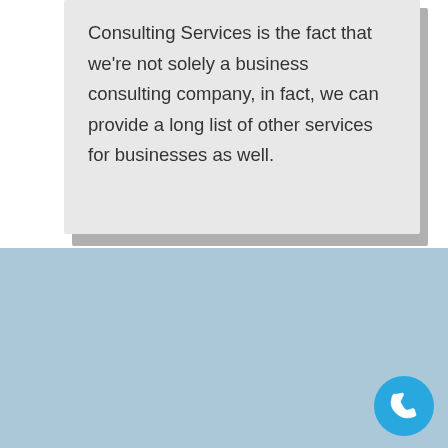Consulting Services is the fact that we're not solely a business consulting company, in fact, we can provide a long list of other services for businesses as well.
At NXT LVL ROI Business Consulting Services, Our Expertise Resides Within These 3 Core Foundational